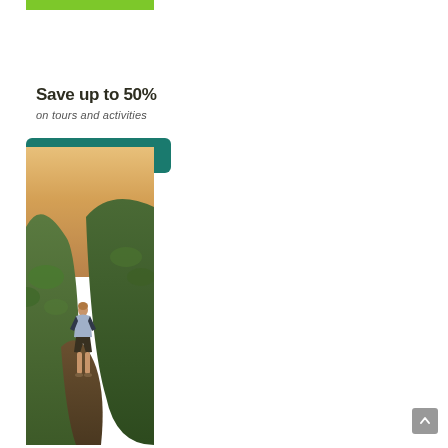[Figure (other): Green accent bar at top of advertisement panel]
Save up to 50%
on tours and activities
Start exploring
[Figure (photo): A woman hiking on a hillside trail with green grassy slopes, photographed at golden hour/sunset with warm orange sky background.]